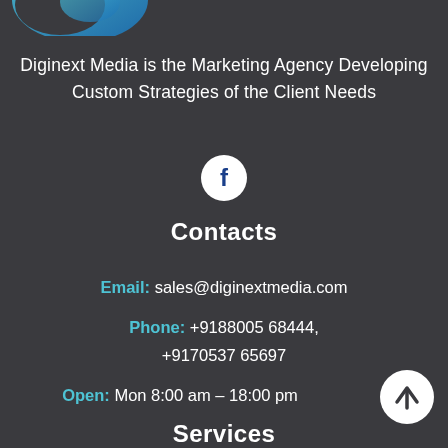[Figure (logo): Diginext Media logo (partial teal/blue swoosh shape, cropped at top)]
Diginext Media is the Marketing Agency Developing Custom Strategies of the Client Needs
[Figure (illustration): Facebook icon in white circle]
Contacts
Email: sales@diginextmedia.com
Phone: +9188005 68444, +9170537 65697
Open: Mon 8:00 am – 18:00 pm
[Figure (illustration): Upward arrow button in white circle]
Services